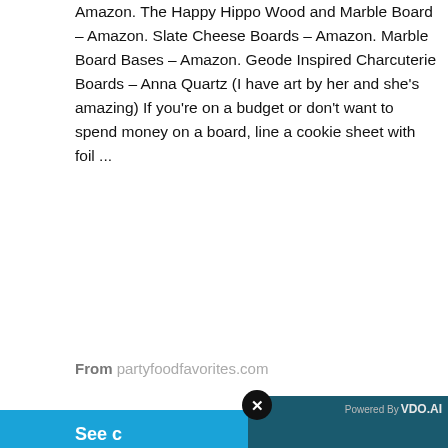Amazon. The Happy Hippo Wood and Marble Board – Amazon. Slate Cheese Boards – Amazon. Marble Board Bases – Amazon. Geode Inspired Charcuterie Boards – Anna Quartz (I have art by her and she's amazing) If you're on a budget or don't want to spend money on a board, line a cookie sheet with foil ...
From partyfoodfavorites.com
See c
EASY K… "MOM H…
2020-05… Kid's Ch… fridge…a… below an… And rem… thing. Don't overdo the portions. It's more about
[Figure (screenshot): Video player overlay showing 'No compatible source was found for this media.' with a dark topo-map background and 'HEA X' text watermark. A close button (x) is shown top-left of the overlay. 'Powered By VDO.AI' badge top-right.]